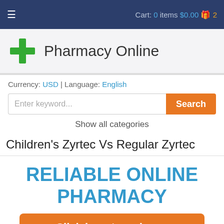≡   Cart: 0 items $0.00 🎁 2
Pharmacy Online
Currency: USD | Language: English
Enter keyword...  Search
Show all categories
Children's Zyrtec Vs Regular Zyrtec
RELIABLE ONLINE PHARMACY
> Click here to order now